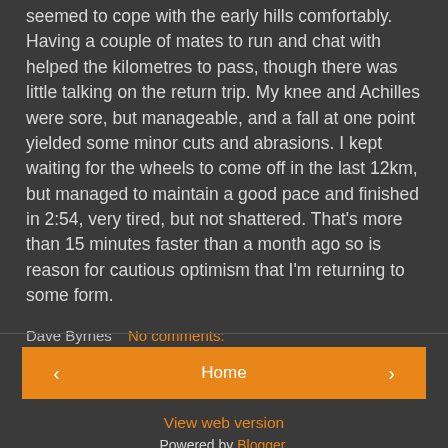seemed to cope with the early hills comfortably.  Having a couple of mates to run and chat with helped the kilometres to pass, though there was little talking on the return trip.  My knee and Achilles were sore, but manageable, and a fall at one point yielded some minor cuts and abrasions.  I kept waiting for the wheels to come off in the last 12km, but managed to maintain a good pace and finished in 2:54, very tired, but not shattered.  That's more than 15 minutes faster than a month ago so is reason for cautious optimism that I'm returning to some form.
Dave Byrnes   No comments:
Share
‹
Home
›
View web version
Powered by Blogger.